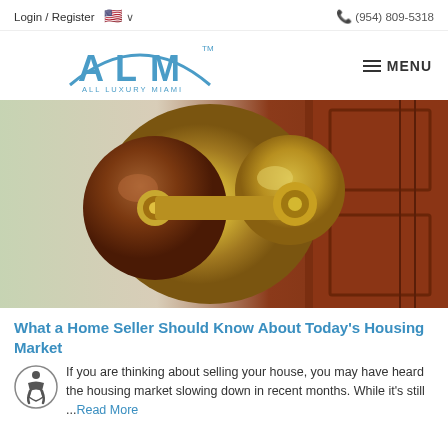Login / Register  🇺🇸 ∨   (954) 809-5318
[Figure (logo): ALM All Luxury Miami logo in blue with arch graphic]
[Figure (photo): Close-up photo of a brass and wood door knob on a red wooden door]
What a Home Seller Should Know About Today's Housing Market
If you are thinking about selling your house, you may have heard the housing market slowing down in recent months. While it's still ...Read More